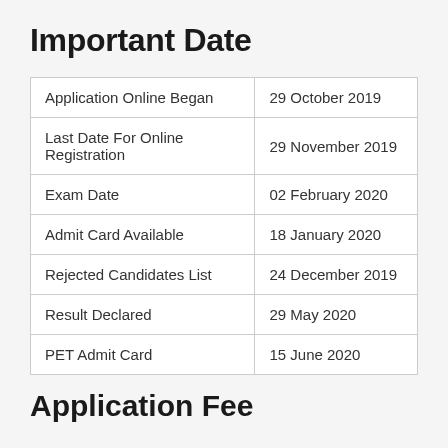Important Date
| Application Online Began | 29 October 2019 |
| Last Date For Online Registration | 29 November 2019 |
| Exam Date | 02 February 2020 |
| Admit Card Available | 18 January 2020 |
| Rejected Candidates List | 24 December 2019 |
| Result Declared | 29 May 2020 |
| PET Admit Card | 15 June 2020 |
Application Fee